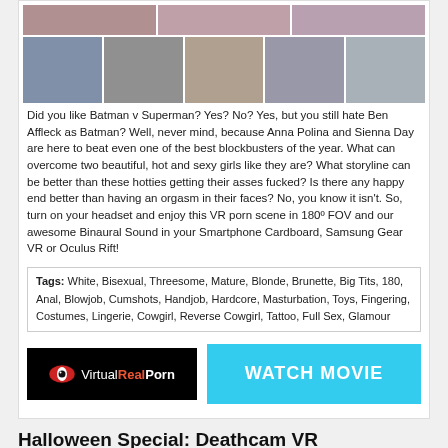[Figure (photo): Grid of thumbnail images showing scenes from adult VR video]
Did you like Batman v Superman? Yes? No? Yes, but you still hate Ben Affleck as Batman? Well, never mind, because Anna Polina and Sienna Day are here to beat even one of the best blockbusters of the year. What can overcome two beautiful, hot and sexy girls like they are? What storyline can be better than these hotties getting their asses fucked? Is there any happy end better than having an orgasm in their faces? No, you know it isn't. So, turn on your headset and enjoy this VR porn scene in 180º FOV and our awesome Binaural Sound in your Smartphone Cardboard, Samsung Gear VR or Oculus Rift!
Tags: White, Bisexual, Threesome, Mature, Blonde, Brunette, Big Tits, 180, Anal, Blowjob, Cumshots, Handjob, Hardcore, Masturbation, Toys, Fingering, Costumes, Lingerie, Cowgirl, Reverse Cowgirl, Tattoo, Full Sex, Glamour
[Figure (logo): VirtualRealPorn logo on black background]
[Figure (other): WATCH MOVIE cyan button]
Halloween Special: Deathcam VR
[Figure (photo): Preview thumbnail for Halloween Special Deathcam VR video]